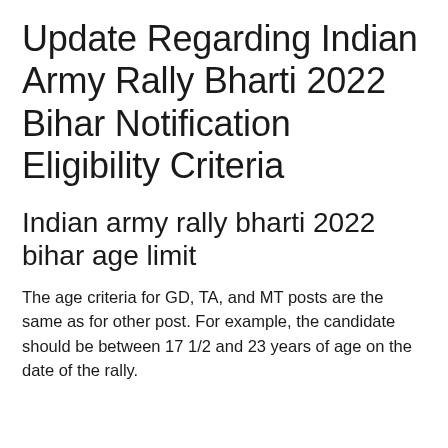Update Regarding Indian Army Rally Bharti 2022 Bihar Notification Eligibility Criteria
Indian army rally bharti 2022 bihar age limit
The age criteria for GD, TA, and MT posts are the same as for other post. For example, the candidate should be between 17 1/2 and 23 years of age on the date of the rally.